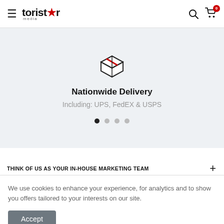toristar media
[Figure (illustration): Package/box icon with red diagonal stripe, outline style]
Nationwide Delivery
Including: UPS, FedEX & USPS
THINK OF US AS YOUR IN-HOUSE MARKETING TEAM
We use cookies to enhance your experience, for analytics and to show you offers tailored to your interests on our site.
Accept
SUBSCRIBE: BRAND PERSPECTIVE